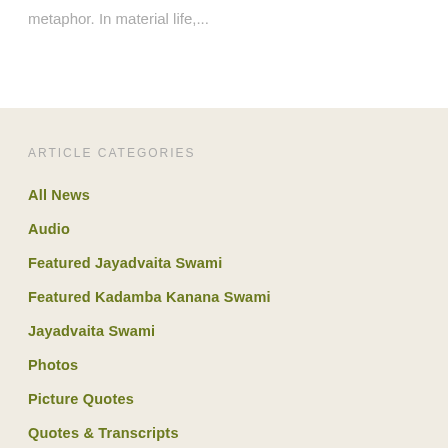metaphor. In material life,...
ARTICLE CATEGORIES
All News
Audio
Featured Jayadvaita Swami
Featured Kadamba Kanana Swami
Jayadvaita Swami
Photos
Picture Quotes
Quotes & Transcripts